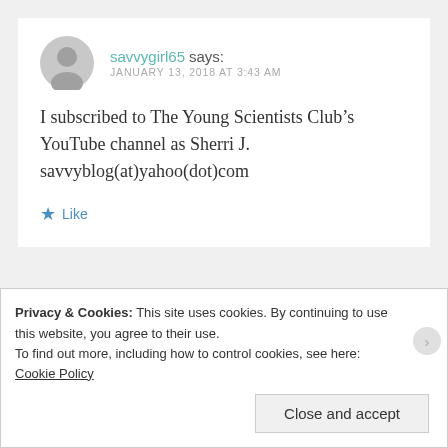savvygirl65 says: JANUARY 13, 2018 AT 3:43 AM
I subscribed to The Young Scientists Club’s YouTube channel as Sherri J. savvyblog(at)yahoo(dot)com
★ Like
Privacy & Cookies: This site uses cookies. By continuing to use this website, you agree to their use.
To find out more, including how to control cookies, see here: Cookie Policy
Close and accept